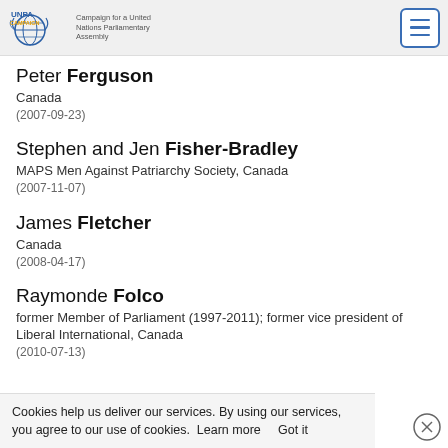UNPA CAMPAIGN – Campaign for a United Nations Parliamentary Assembly
Peter Ferguson
Canada
(2007-09-23)
Stephen and Jen Fisher-Bradley
MAPS Men Against Patriarchy Society, Canada
(2007-11-07)
James Fletcher
Canada
(2008-04-17)
Raymonde Folco
former Member of Parliament (1997-2011); former vice president of Liberal International, Canada
(2010-07-13)
Cookies help us deliver our services. By using our services, you agree to our use of cookies.  Learn more     Got it